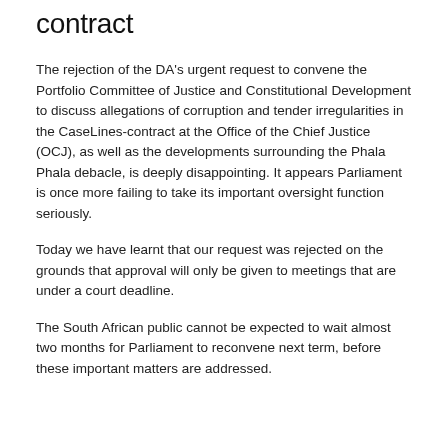contract
The rejection of the DA's urgent request to convene the Portfolio Committee of Justice and Constitutional Development to discuss allegations of corruption and tender irregularities in the CaseLines-contract at the Office of the Chief Justice (OCJ), as well as the developments surrounding the Phala Phala debacle, is deeply disappointing. It appears Parliament is once more failing to take its important oversight function seriously.
Today we have learnt that our request was rejected on the grounds that approval will only be given to meetings that are under a court deadline.
The South African public cannot be expected to wait almost two months for Parliament to reconvene next term, before these important matters are addressed.